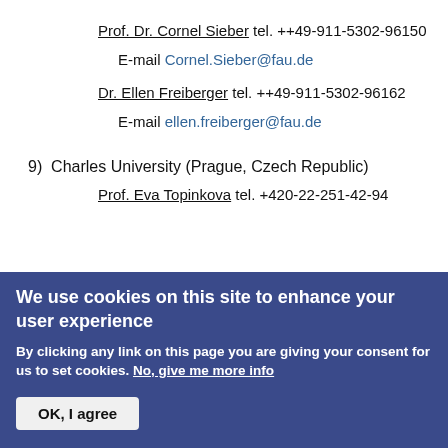Prof. Dr. Cornel Sieber tel. ++49-911-5302-96150
E-mail Cornel.Sieber@fau.de
Dr. Ellen Freiberger tel. ++49-911-5302-96162
E-mail ellen.freiberger@fau.de
9)  Charles University (Prague, Czech Republic)
Prof. Eva Topinkova tel. +420-22-251-42-94
We use cookies on this site to enhance your user experience
By clicking any link on this page you are giving your consent for us to set cookies. No, give me more info
OK, I agree